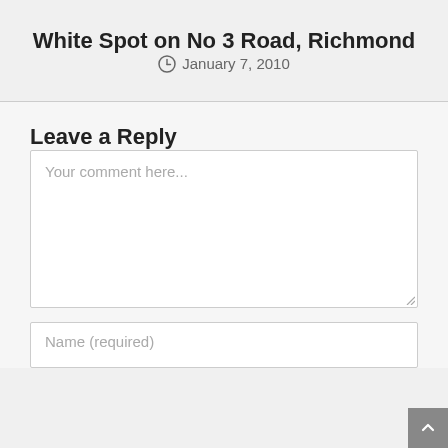White Spot on No 3 Road, Richmond
January 7, 2010
Leave a Reply
Your comment here...
Name (required)